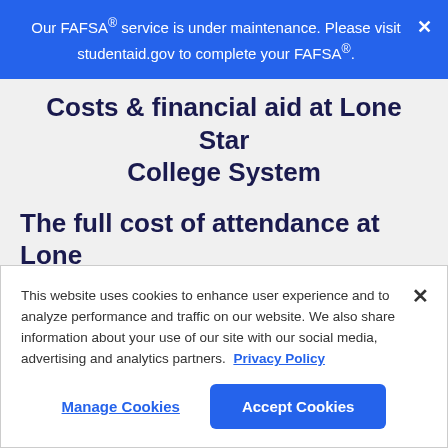Our FAFSA® service is under maintenance. Please visit studentaid.gov to complete your FAFSA®.
Costs & financial aid at Lone Star College System
The full cost of attendance at Lone Star College System is $13,345. To
This website uses cookies to enhance user experience and to analyze performance and traffic on our website. We also share information about your use of our site with our social media, advertising and analytics partners. Privacy Policy
Manage Cookies | Accept Cookies